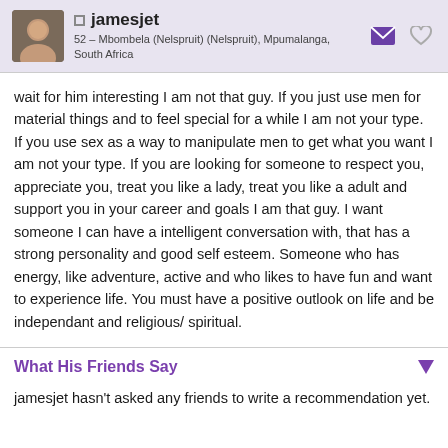jamesjet — 52 – Mbombela (Nelspruit) (Nelspruit), Mpumalanga, South Africa
wait for him interesting I am not that guy. If you just use men for material things and to feel special for a while I am not your type. If you use sex as a way to manipulate men to get what you want I am not your type. If you are looking for someone to respect you, appreciate you, treat you like a lady, treat you like a adult and support you in your career and goals I am that guy. I want someone I can have a intelligent conversation with, that has a strong personality and good self esteem. Someone who has energy, like adventure, active and who likes to have fun and want to experience life. You must have a positive outlook on life and be independant and religious/ spiritual.
What His Friends Say
jamesjet hasn't asked any friends to write a recommendation yet.